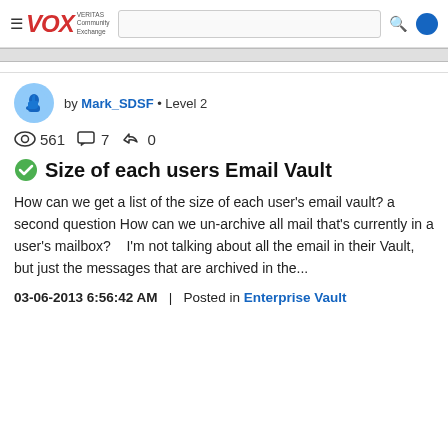VOX VERITAS Community Exchange — navigation header with search
by Mark_SDSF • Level 2
561 views  7 comments  0 likes
Size of each users Email Vault
How can we get a list of the size of each user's email vault? a second question How can we un-archive all mail that's currently in a user's mailbox?    I'm not talking about all the email in their Vault, but just the messages that are archived in the...
03-06-2013 6:56:42 AM   |   Posted in Enterprise Vault